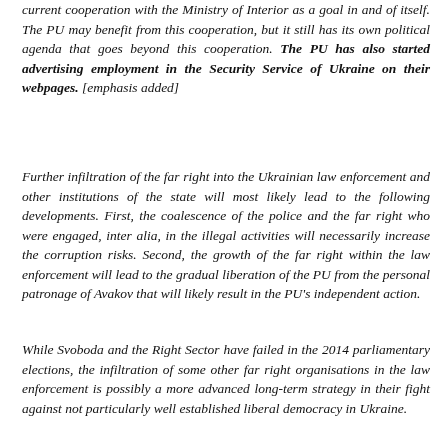current cooperation with the Ministry of Interior as a goal in and of itself. The PU may benefit from this cooperation, but it still has its own political agenda that goes beyond this cooperation. The PU has also started advertising employment in the Security Service of Ukraine on their webpages. [emphasis added]
Further infiltration of the far right into the Ukrainian law enforcement and other institutions of the state will most likely lead to the following developments. First, the coalescence of the police and the far right who were engaged, inter alia, in the illegal activities will necessarily increase the corruption risks. Second, the growth of the far right within the law enforcement will lead to the gradual liberation of the PU from the personal patronage of Avakov that will likely result in the PU's independent action.
While Svoboda and the Right Sector have failed in the 2014 parliamentary elections, the infiltration of some other far right organisations in the law enforcement is possibly a more advanced long-term strategy in their fight against not particularly well established liberal democracy in Ukraine.